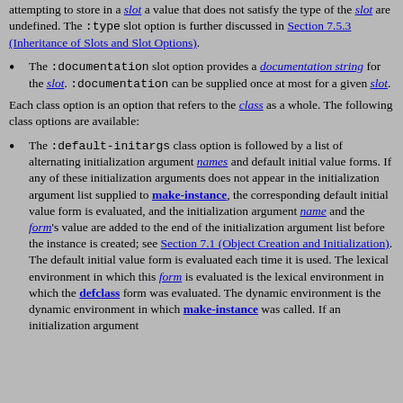attempting to store in a slot a value that does not satisfy the type of the slot are undefined. The :type slot option is further discussed in Section 7.5.3 (Inheritance of Slots and Slot Options).
The :documentation slot option provides a documentation string for the slot. :documentation can be supplied once at most for a given slot.
Each class option is an option that refers to the class as a whole. The following class options are available:
The :default-initargs class option is followed by a list of alternating initialization argument names and default initial value forms. If any of these initialization arguments does not appear in the initialization argument list supplied to make-instance, the corresponding default initial value form is evaluated, and the initialization argument name and the form's value are added to the end of the initialization argument list before the instance is created; see Section 7.1 (Object Creation and Initialization). The default initial value form is evaluated each time it is used. The lexical environment in which this form is evaluated is the lexical environment in which the defclass form was evaluated. The dynamic environment is the dynamic environment in which make-instance was called. If an initialization argument